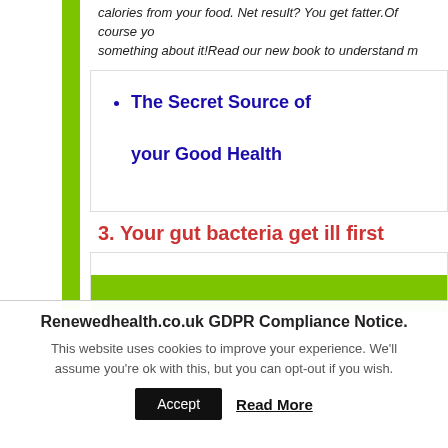calories from your food. Net result? You get fatter.Of course you something about it!Read our new book to understand m
The Secret Source of your Good Health
3. Your gut bacteria get ill first
[Figure (other): Green banner/strip image inside a white bordered box]
Renewedhealth.co.uk GDPR Compliance Notice.
This website uses cookies to improve your experience. We'll assume you're ok with this, but you can opt-out if you wish.
Accept   Read More